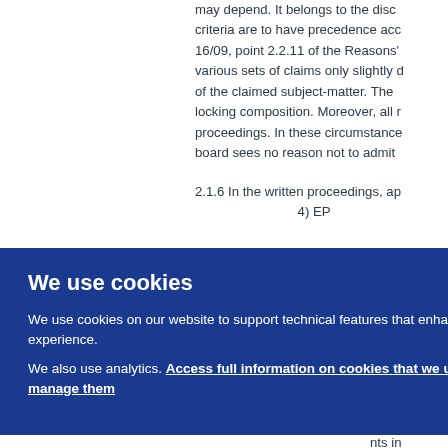may depend. It belongs to the disc criteria are to have precedence acc 16/09, point 2.2.11 of the Reasons various sets of claims only slightly of the claimed subject-matter. The locking composition. Moreover, all proceedings. In these circumstance board sees no reason not to admit
2.1.6 In the written proceedings, ap 4) EP
[Figure (screenshot): Cookie consent overlay banner with blue background showing 'We use cookies' title, body text about cookie usage for technical features and analytics, a link to 'Access full information on cookies that we use and how to manage them', and an OK button.]
le 13 exami in op d, sin d the nts in t 4 of